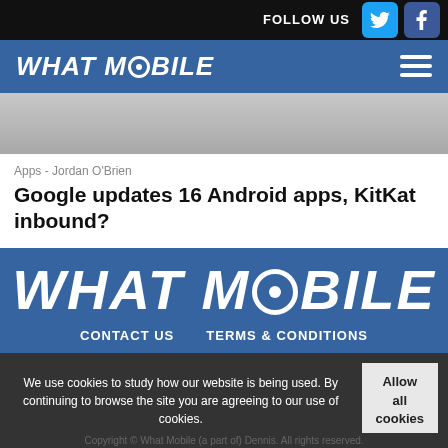FOLLOW US
WHAT MOBILE
[Figure (photo): Grey placeholder image for article header]
Apps - Jordan O'Brien
Google updates 16 Android apps, KitKat inbound?
[Figure (logo): WHAT MOBILE large logo in white on blue background]
CONTACT US    TERMS & CONDITIONS
We use cookies to study how our website is being used. By continuing to browse the site you are agreeing to our use of cookies.
Allow all cookies
Copyright © What Mobile (a part of) Dennis. All rights reserved.